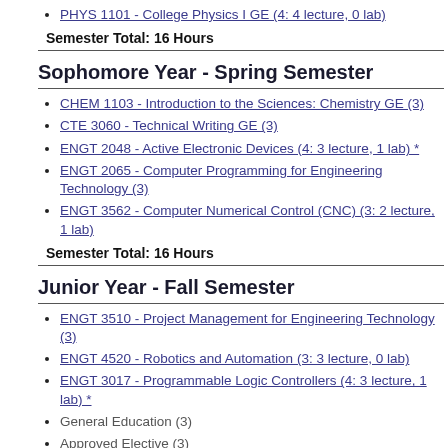PHYS 1101 - College Physics I GE (4: 4 lecture, 0 lab)
Semester Total: 16 Hours
Sophomore Year - Spring Semester
CHEM 1103 - Introduction to the Sciences: Chemistry GE (3)
CTE 3060 - Technical Writing GE (3)
ENGT 2048 - Active Electronic Devices (4: 3 lecture, 1 lab) *
ENGT 2065 - Computer Programming for Engineering Technology (3)
ENGT 3562 - Computer Numerical Control (CNC) (3: 2 lecture, 1 lab)
Semester Total: 16 Hours
Junior Year - Fall Semester
ENGT 3510 - Project Management for Engineering Technology (3)
ENGT 4520 - Robotics and Automation (3: 3 lecture, 0 lab)
ENGT 3017 - Programmable Logic Controllers (4: 3 lecture, 1 lab) *
General Education (3)
Approved Elective (3)
Semester Total: 16 Hours